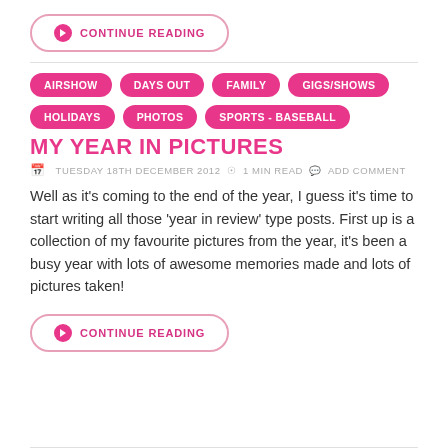CONTINUE READING
AIRSHOW
DAYS OUT
FAMILY
GIGS/SHOWS
HOLIDAYS
PHOTOS
SPORTS - BASEBALL
MY YEAR IN PICTURES
TUESDAY 18TH DECEMBER 2012  1 MIN READ  ADD COMMENT
Well as it’s coming to the end of the year, I guess it’s time to start writing all those ‘year in review’ type posts. First up is a collection of my favourite pictures from the year, it’s been a busy year with lots of awesome memories made and lots of pictures taken!
CONTINUE READING